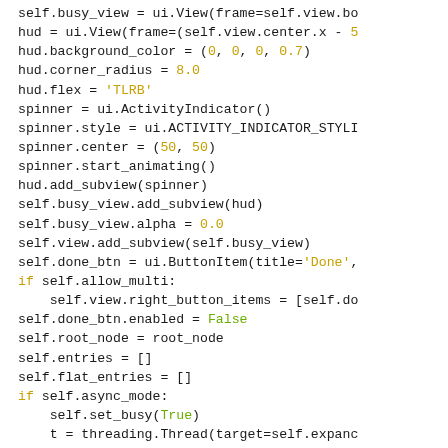[Figure (screenshot): Python source code snippet showing UI setup with busy_view, hud, spinner, done_btn, root_node, entries, flat_entries, and async_mode logic]